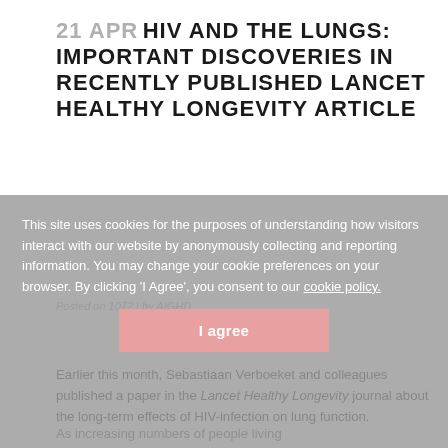21 APR HIV AND THE LUNGS: IMPORTANT DISCOVERIES IN RECENTLY PUBLISHED LANCET HEALTHY LONGEVITY ARTICLE
Posted on 1072 | by AIGHD
Earlier this month, Sebastiaan Verboeket and colleagues published a paper in the Lancet Healthy Longevity journal about the long-term effects of HIV-infection on lung function.
This site uses cookies for the purposes of understanding how visitors interact with our website by anonymously collecting and reporting information. You may change your cookie preferences on your browser. By clicking 'I Agree', you consent to our cookie policy.
I agree
As increasing numbers of people living